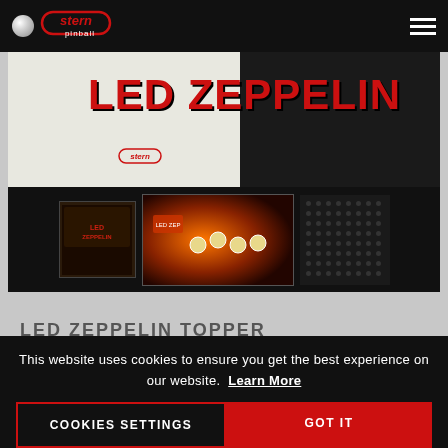[Figure (screenshot): Stern Pinball LED Zeppelin pinball machine product photo showing backglass with LED ZEPPELIN text in red, and cabinet with display screens]
LED ZEPPELIN TOPPER
$849.99
This website uses cookies to ensure you get the best experience on our website. Learn More
COOKIES SETTINGS
GOT IT